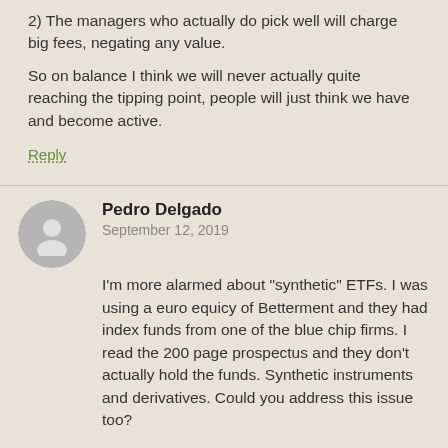2) The managers who actually do pick well will charge big fees, negating any value.
So on balance I think we will never actually quite reaching the tipping point, people will just think we have and become active.
Reply
Pedro Delgado
September 12, 2019
I'm more alarmed about “synthetic” ETFs. I was using a euro equicy of Betterment and they had index funds from one of the blue chip firms. I read the 200 page prospectus and they don’t actually hold the funds. Synthetic instruments and derivatives. Could you address this issue too?
Reply
Mr. Money Mustache
September 12, 2019
The details of how synthetic ETFs are managed is not something I know much about yet.